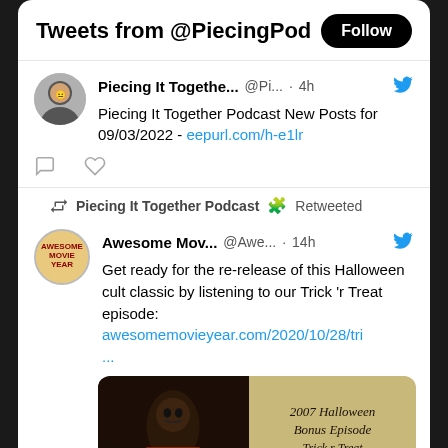Tweets from @PiecingPod
Piecing It Togethe... @Pi... · 4h
Piecing It Together Podcast New Posts for 09/03/2022 - eepurl.com/h-e1lr
Piecing It Together Podcast 🧩 Retweeted
Awesome Mov... @Awe... · 14h
Get ready for the re-release of this Halloween cult classic by listening to our Trick 'r Treat episode: awesomemovieyear.com/2020/10/28/tri ...
[Figure (photo): Split image: left side shows a dark Halloween figure, right side shows '2007 Halloween Bonus Episode Trick r Treat' text on aged background]